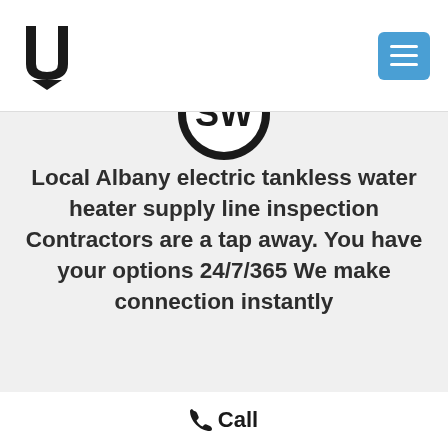U logo and navigation hamburger menu
[Figure (logo): Partial circular black logo with stylized letters visible at bottom of circle]
Local Albany electric tankless water heater supply line inspection Contractors are a tap away. You have your options 24/7/365 We make connection instantly
Call